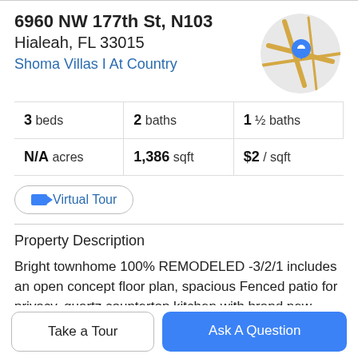6960 NW 177th St, N103
Hialeah, FL 33015
Shoma Villas I At Country
[Figure (map): Circular map thumbnail showing street map with a blue location pin marker]
| 3 beds | 2 baths | 1 ½ baths |
| N/A acres | 1,386 sqft | $2 / sqft |
Virtual Tour
Property Description
Bright townhome 100% REMODELED -3/2/1 includes an open concept floor plan, spacious Fenced patio for privacy, quartz countertop kitchen with brand new stainless steel appliances * New A/C* New floors *New